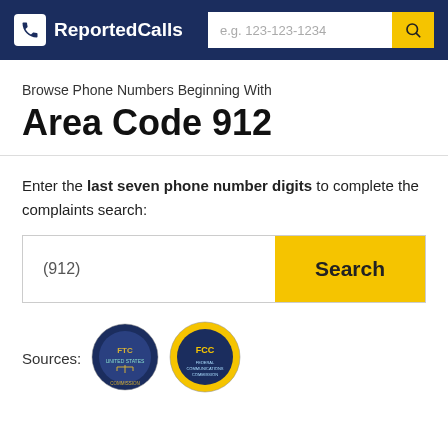ReportedCalls — search bar with placeholder e.g. 123-123-1234
Browse Phone Numbers Beginning With
Area Code 912
Enter the last seven phone number digits to complete the complaints search:
(912) Search
Sources: